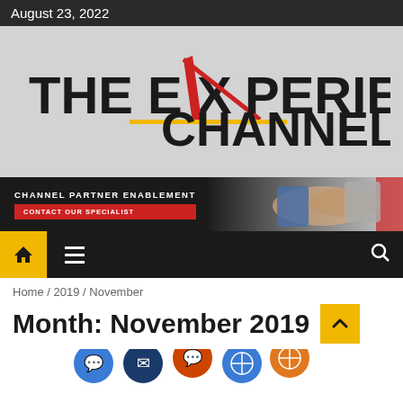August 23, 2022
[Figure (logo): The Experience Channel logo on grey background with red/black swoosh graphic]
[Figure (infographic): Channel Partner Enablement banner with CONTACT OUR SPECIALIST red button and handshake photo on dark background]
[Figure (infographic): Navigation bar with yellow home icon box, hamburger menu, and search icon on dark background]
Home / 2019 / November
Month: November 2019
[Figure (illustration): Colorful social media / communication icons at bottom of page]